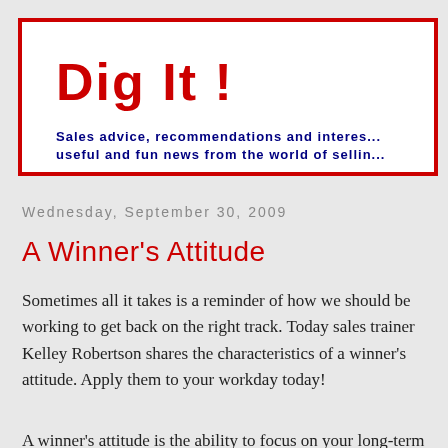Dig It !
Sales advice, recommendations and interes... useful and fun news from the world of sellin...
Wednesday, September 30, 2009
A Winner's Attitude
Sometimes all it takes is a reminder of how we should be working to get back on the right track. Today sales trainer Kelley Robertson shares the characteristics of a winner's attitude. Apply them to your workday today!
A winner's attitude is the ability to focus on your long-term